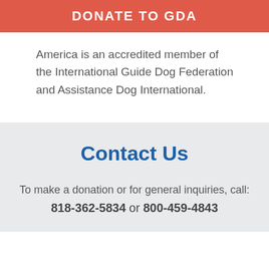DONATE TO GDA
America is an accredited member of the International Guide Dog Federation and Assistance Dog International.
Contact Us
To make a donation or for general inquiries, call: 818-362-5834 or 800-459-4843